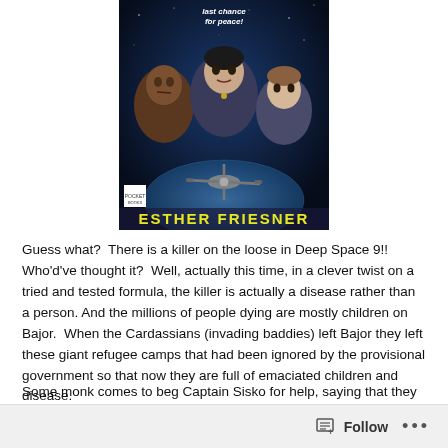[Figure (photo): Book cover for a Star Trek Deep Space Nine novel by Esther Friesner. Dark blue/space background with three characters (two men and a woman) and a space station. Text at top reads 'last chance for peace!' and author name 'ESTHER FRIESNER' at the bottom in yellow letters.]
Guess what?  There is a killer on the loose in Deep Space 9!! Who'd've thought it?  Well, actually this time, in a clever twist on a tried and tested formula, the killer is actually a disease rather than a person. And the millions of people dying are mostly children on Bajor.  When the Cardassians (invading baddies) left Bajor they left these giant refugee camps that had been ignored by the provisional government so that now they are full of emaciated children and disease.
Some monk comes to beg Captain Sisko for help, saying that they are desperate for healers.  He agrees to send them some help but can't risk his
Follow   ...